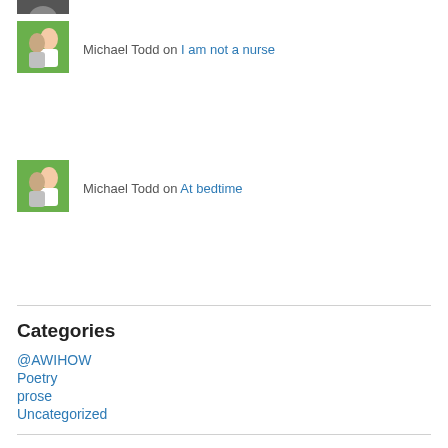[Figure (photo): Partial avatar image at top, dark/gray tones, cropped]
Michael Todd on I am not a nurse
[Figure (photo): Avatar photo of a couple (woman and man) against green background]
Michael Todd on At bedtime
[Figure (photo): Avatar photo of a couple (woman and man) against green background]
Categories
@AWIHOW
Poetry
prose
Uncategorized
Archives
August 2022
April 2022
January 2022